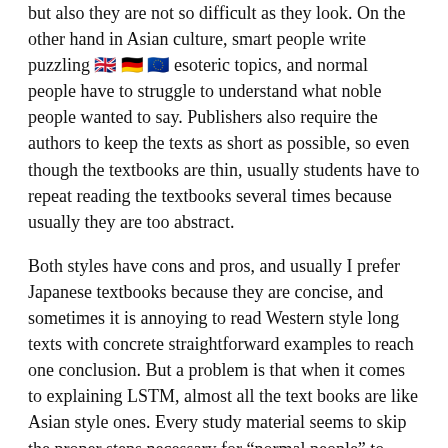but also they are not so difficult as they look. On the other hand in Asian culture, smart people write puzzling [flags] esoteric topics, and normal people have to struggle to understand what noble people wanted to say. Publishers also require the authors to keep the texts as short as possible, so even though the textbooks are thin, usually students have to repeat reading the textbooks several times because usually they are too abstract.
Both styles have cons and pros, and usually I prefer Japanese textbooks because they are concise, and sometimes it is annoying to read Western style long texts with concrete straightforward examples to reach one conclusion. But a problem is that when it comes to explaining LSTM, almost all the text books are like Asian style ones. Every study material seems to skip the proper steps necessary for “normal people” to understand its algorithms. But after actually making concrete slides on mathematics on LSTM, I understood why: if you write down all the equations on LSTM forward/back propagation, that is going to be massive, and actually I had to make 100-page PowerPoint animated slides to make it understandable to people like me.